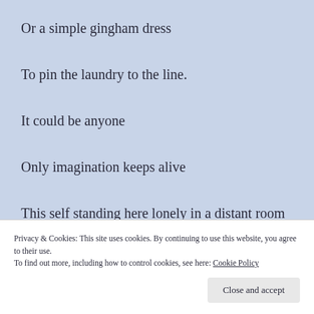Or a simple gingham dress
To pin the laundry to the line.
It could be anyone
Only imagination keeps alive
This self standing here lonely in a distant room
Privacy & Cookies: This site uses cookies. By continuing to use this website, you agree to their use. To find out more, including how to control cookies, see here: Cookie Policy
Close and accept